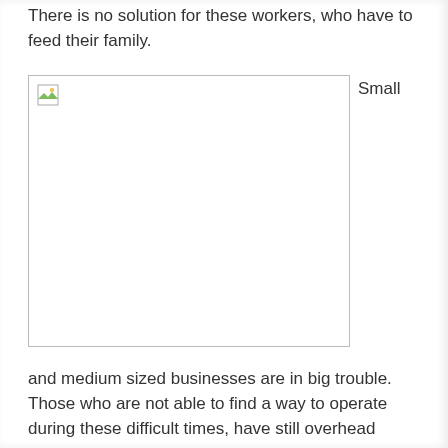There is no solution for these workers, who have to feed their family.
[Figure (photo): A broken/missing image placeholder with a small landscape icon in the top-left corner, labeled 'Small' to the right of the image box.]
and medium sized businesses are in big trouble. Those who are not able to find a way to operate during these difficult times, have still overhead